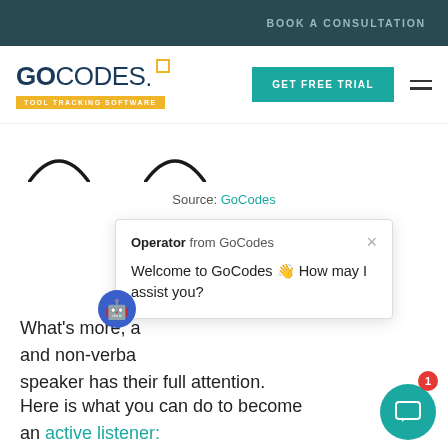BOOK A CONSULTATION
[Figure (logo): GoCodes Tool Tracking Software logo with teal GET FREE TRIAL button and hamburger menu]
[Figure (illustration): Partial cartoon face showing two downward arc eye shapes]
Source: GoCodes
[Figure (screenshot): Chat popup from GoCodes Operator: Welcome to GoCodes 👋 How may I assist you?]
What's more, a... and non-verbal... speaker has their full attention.
Here is what you can do to become an active listener: